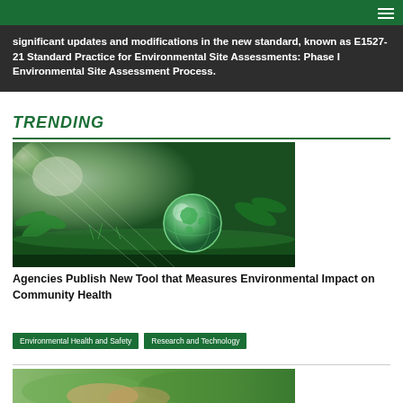significant updates and modifications in the new standard, known as E1527-21 Standard Practice for Environmental Site Assessments: Phase I Environmental Site Assessment Process.
TRENDING
[Figure (photo): A glass globe resting on green moss in a forest setting with bright light in background, symbolizing environmental and sustainability themes.]
Agencies Publish New Tool that Measures Environmental Impact on Community Health
Environmental Health and Safety
Research and Technology
[Figure (photo): Partial view of another article image, cropped at bottom of page.]